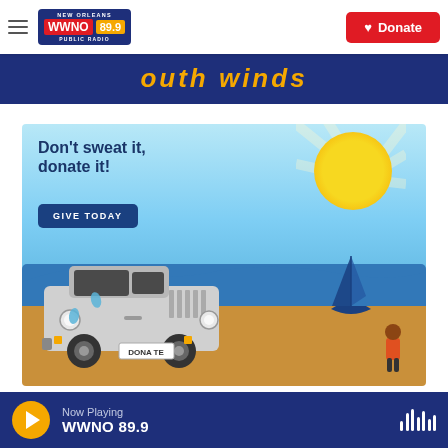WWNO 89.9 New Orleans Public Radio — Donate
[Figure (illustration): Donation campaign banner with yellow italic text on dark blue background (partially visible)]
[Figure (illustration): Advertisement: 'Don't sweat it, donate it! GIVE TODAY' with illustrated white jeep on beach, yellow sun, sailboat, and person. Sunny sky with light blue background.]
Now Playing WWNO 89.9